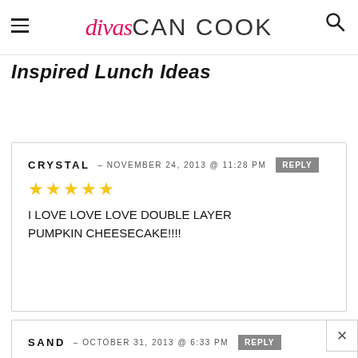divas CAN COOK
Inspired Lunch Ideas
LEAVE A COMMENT »
CRYSTAL – NOVEMBER 24, 2013 @ 11:28 PM REPLY ★★★★★ I LOVE LOVE LOVE DOUBLE LAYER PUMPKIN CHEESECAKE!!!!
SAND – OCTOBER 31, 2013 @ 6:33 PM REPLY Pumpkin soup and lasagna!